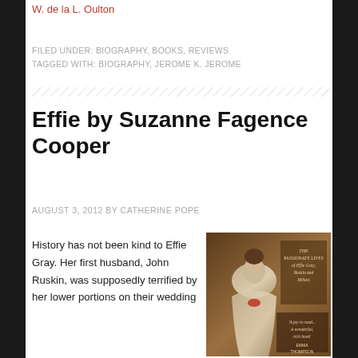W. de la L. Oulton
FILED UNDER: BIOGRAPHY, BOOKS, REVIEWS
TAGGED WITH: BIOGRAPHY, JEROME K. JEROME
Effie by Suzanne Fagence Cooper
AUGUST 3, 2012 BY CATHERINE POPE
History has not been kind to Effie Gray. Her first husband, John Ruskin, was supposedly terrified by her lower portions on their wedding
[Figure (photo): Book cover of 'Effie' showing a painting of a woman in historical dress with subtitle text about passionate lives of Effie Gray, Ruskin and Millais, with quote 'A joy to read... A wonderful, rich book' by Emma Thompson]